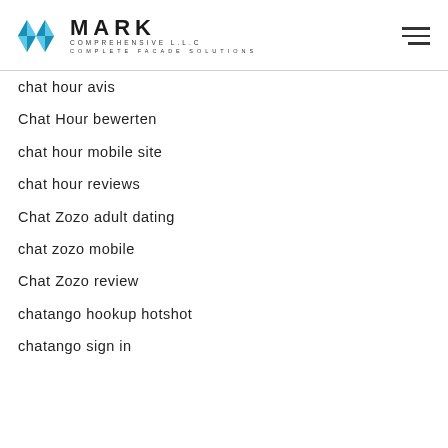MARK COMPREHENSIVE LLC COMPLETE FACADE SOLUTIONS
chat hour avis
Chat Hour bewerten
chat hour mobile site
chat hour reviews
Chat Zozo adult dating
chat zozo mobile
Chat Zozo review
chatango hookup hotshot
chatango sign in